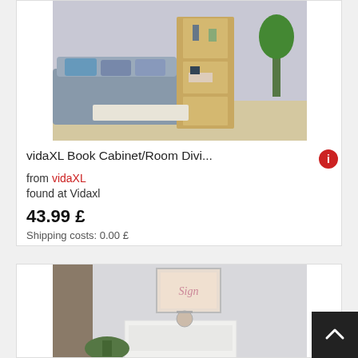[Figure (photo): Product photo of a wooden book cabinet/room divider with open shelves, displayed in a living room setting with a sofa and plant in the background.]
vidaXL Book Cabinet/Room Divi...
from vidaXL
found at Vidaxl
43.99 £
Shipping costs: 0.00 £
[Figure (photo): Partial product photo showing a white furniture piece (nightstand or side table) in a room setting with curtains and decorative items.]